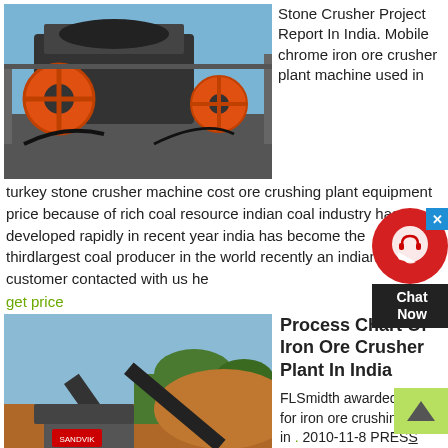[Figure (photo): Industrial stone crusher machine with orange flywheel, outdoor industrial setting with blue sky]
Stone Crusher Project Report In India. Mobile chrome iron ore crusher plant machine used in
turkey stone crusher machine cost ore crushing plant equipment price because of rich coal resource indian coal industry has developed rapidly in recent year india has become the thirdlargest coal producer in the world recently an indian customer contacted with us he
get price
[Figure (photo): Mobile iron ore crusher plant in India, outdoor setting with reddish earth mounds and trees in background]
Process Chart Of Iron Ore Crusher Plant In India
FLSmidth awarded order for iron ore crushing plant in 2010-11-8 PRESS
RELEASE. FLSmidth has received a contract worth